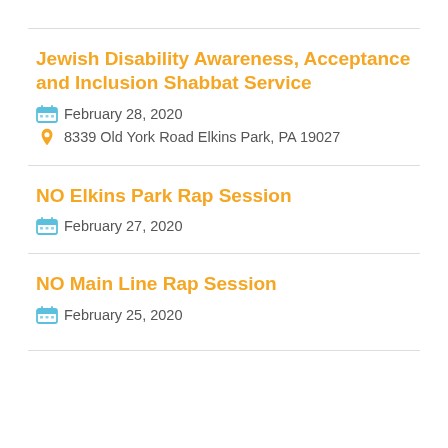Jewish Disability Awareness, Acceptance and Inclusion Shabbat Service
February 28, 2020
8339 Old York Road Elkins Park, PA 19027
NO Elkins Park Rap Session
February 27, 2020
NO Main Line Rap Session
February 25, 2020